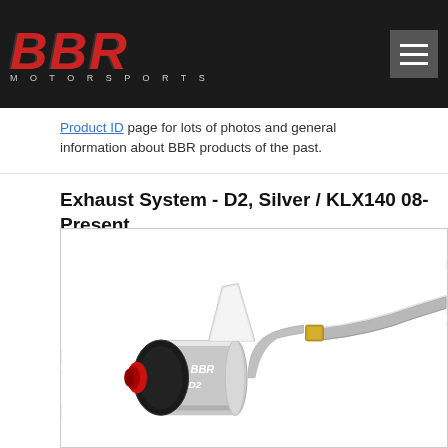BBR Motorsports logo and navigation
Product ID page for lots of photos and general information about BBR products of the past.
Exhaust System - D2, Silver / KLX140 08-Present
[Figure (photo): BBR D2 exhaust system in silver color for KLX140, showing the muffler canister with black end cap labeled BBR D2, silver heat shield fin, and stainless steel pipe curving to the right. Watermark text overlaid on white background.]